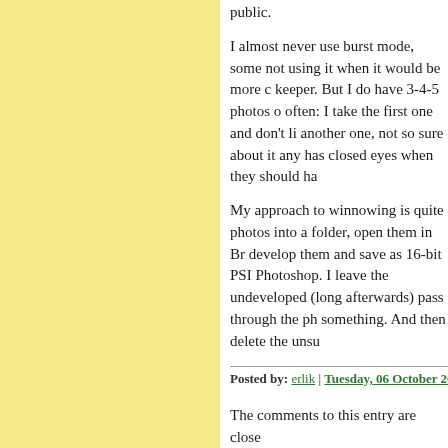public.
I almost never use burst mode, some not using it when it would be more c keeper. But I do have 3-4-5 photos o often: I take the first one and don't li another one, not so sure about it any has closed eyes when they should ha
My approach to winnowing is quite photos into a folder, open them in Br develop them and save as 16-bit PSI Photoshop. I leave the undeveloped (long afterwards) pass through the ph something. And then delete the unsu
Posted by: erlik | Tuesday, 06 October 2009 at 10:11 A
The comments to this entry are close